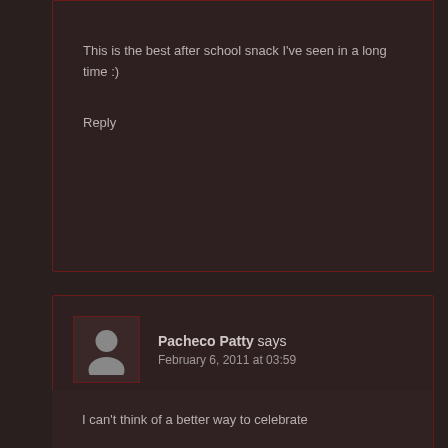This is the best after school snack I've seen in a long time :)
Reply
Pacheco Patty says
February 6, 2011 at 03:59
I can't think of a better way to celebrate